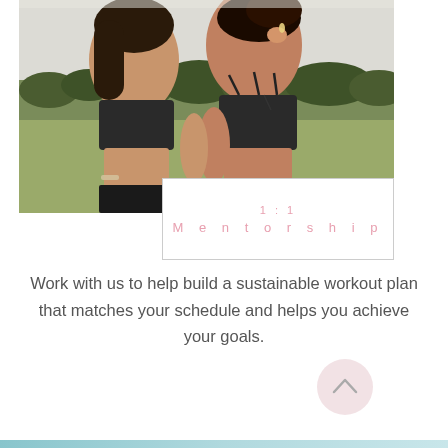[Figure (photo): Two women in black sports bras standing back to back outdoors in a green field, smiling, one with a tattoo on her shoulder]
1:1
Mentorship
Work with us to help build a sustainable workout plan that matches your schedule and helps you achieve your goals.
[Figure (other): Light pink circular button with an upward-pointing chevron arrow]